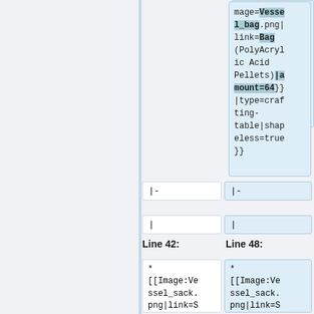mage=Vessel_bag.png|link=Bag (PolyAcrylic Acid Pellets)|amount=64}}|type=crafting-table|shapeless=true}}
|-
|-
|
|
Line 42:
Line 48:
* [[Image:Vessel_sack.png|link=S
* [[Image:Vessel_sack.png|link=S